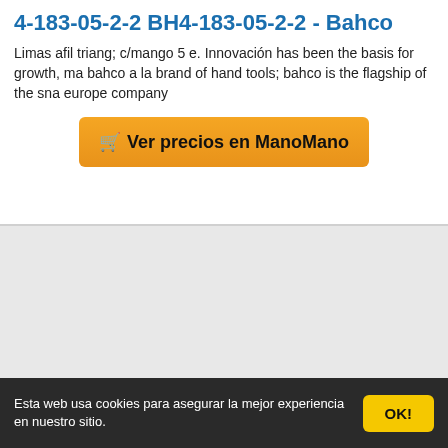4-183-05-2-2 BH4-183-05-2-2 - Bahco
Limas afil triang; c/mango 5 e. Innovación has been the basis for growth, ma bahco a la brand of hand tools; bahco is the flagship of the sna europe company
[Figure (other): Orange button with shopping cart icon: Ver precios en ManoMano]
Esta web usa cookies para asegurar la mejor experiencia en nuestro sitio.